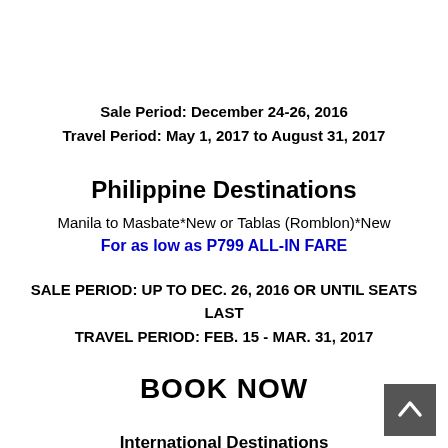Sale Period: December 24-26, 2016
Travel Period: May 1, 2017 to August 31, 2017
Philippine Destinations
Manila to Masbate*New or Tablas (Romblon)*New
For as low as P799 ALL-IN FARE
SALE PERIOD: UP TO DEC. 26, 2016 OR UNTIL SEATS LAST
TRAVEL PERIOD: FEB. 15 - MAR. 31, 2017
BOOK NOW
International Destinations